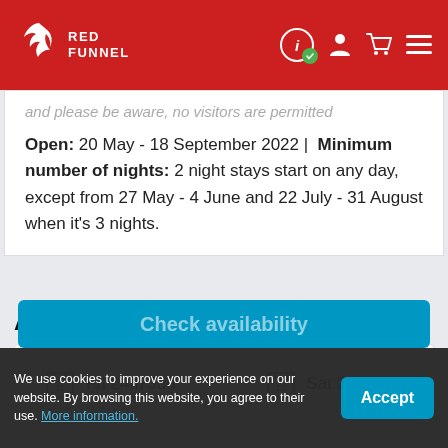Red Funnel
and please be aware, no visitors are permitted
Open: 20 May - 18 September 2022 | Minimum number of nights: 2 night stays start on any day, except from 27 May - 4 June and 22 July - 31 August when it's 3 nights.
Availability
Fri 24th Jun   Sat 25th Jun
Check availability
We use cookies to improve your experience on our website. By browsing this website, you agree to their use. More information.